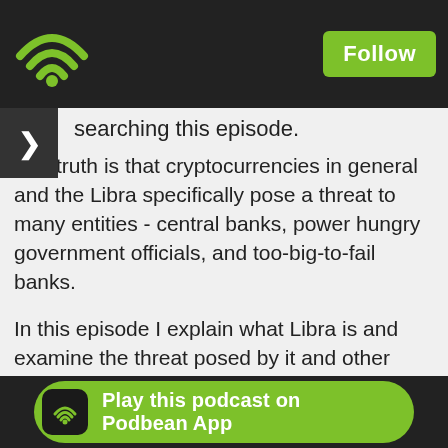Follow
searching this episode.
The truth is that cryptocurrencies in general and the Libra specifically pose a threat to many entities - central banks, power hungry government officials, and too-big-to-fail banks.
In this episode I explain what Libra is and examine the threat posed by it and other cryptocurrencies. Along the way we discuss the benefits of cryptocurrencies, congressional overreach, sound money, central banks and the concept of private money.
Show Notes:
Libra White Paper
Libra House Hearing
G7 Urges Strict Libra Regime, Eyes Minimum Tax
Alternativ... ble Insurance...
Play this podcast on Podbean App